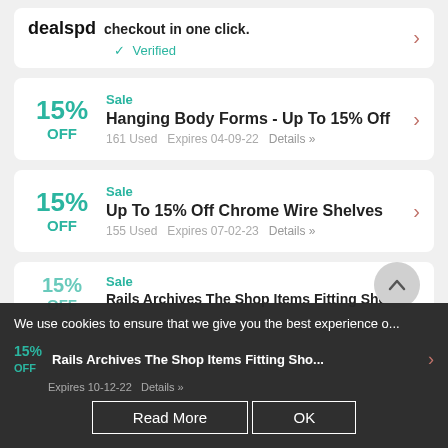dealspd checkout in one click. ✓ Verified
Sale
15% OFF
Hanging Body Forms - Up To 15% Off
161 Used  Expires 04-09-22  Details »
Sale
15% OFF
Up To 15% Off Chrome Wire Shelves
155 Used  Expires 07-02-23  Details »
Sale
15% OFF
Rails Archives The Shop Items Fitting Sho...
Expires 10-12-22  Details »
We use cookies to ensure that we give you the best experience o...
Read More   OK